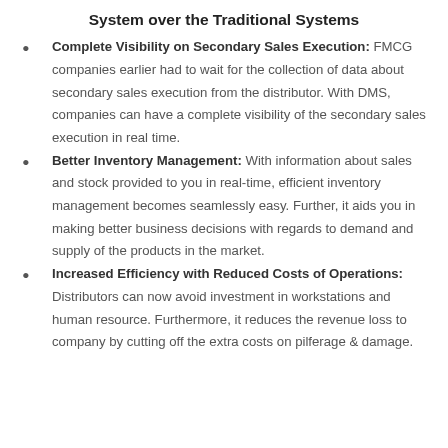System over the Traditional Systems
Complete Visibility on Secondary Sales Execution: FMCG companies earlier had to wait for the collection of data about secondary sales execution from the distributor. With DMS, companies can have a complete visibility of the secondary sales execution in real time.
Better Inventory Management: With information about sales and stock provided to you in real-time, efficient inventory management becomes seamlessly easy. Further, it aids you in making better business decisions with regards to demand and supply of the products in the market.
Increased Efficiency with Reduced Costs of Operations: Distributors can now avoid investment in workstations and human resource. Furthermore, it reduces the revenue loss to company by cutting off the extra costs on pilferage & damage.